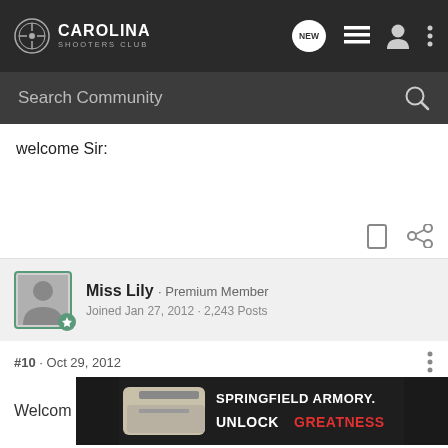Carolina Shooters Club
Search Community
welcome Sir:
Miss Lily · Premium Member
Joined Jan 27, 2012 · 2,243 Posts
#10 · Oct 29, 2012
Welcom
[Figure (screenshot): Springfield Armory advertisement: silver pistol with text SPRINGFIELD ARMORY. UNLOCK GREATNESS]